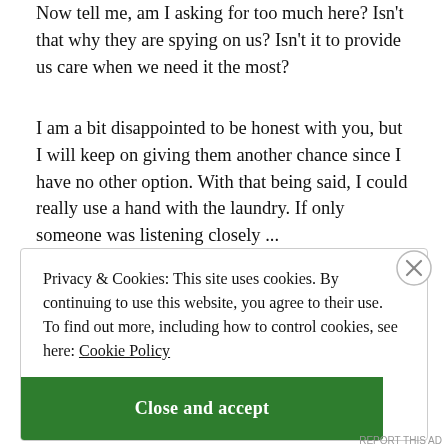Now tell me, am I asking for too much here? Isn't that why they are spying on us? Isn't it to provide us care when we need it the most?
I am a bit disappointed to be honest with you, but I will keep on giving them another chance since I have no other option. With that being said, I could really use a hand with the laundry. If only someone was listening closely ...
Privacy & Cookies: This site uses cookies. By continuing to use this website, you agree to their use.
To find out more, including how to control cookies, see here: Cookie Policy
Close and accept